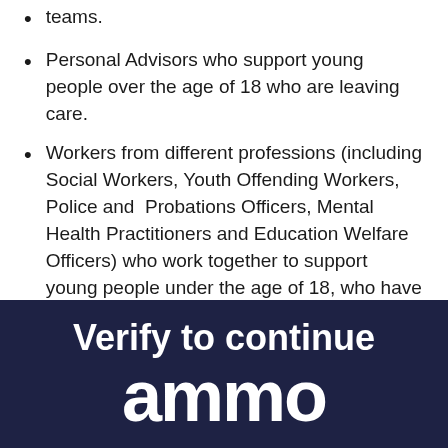teams.
Personal Advisors who support young people over the age of 18 who are leaving care.
Workers from different professions (including Social Workers, Youth Offending Workers, Police and Probations Officers, Mental Health Practitioners and Education Welfare Officers) who work together to support young people under the age of 18, who have either been accused of committing, or have committed, a crime. This team also work with young people to prevent them from offending.
Verify to continue